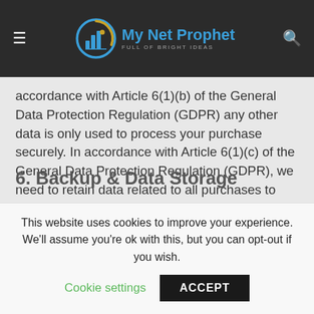My Net Prophet — FULL OF BRIGHT IDEAS
accordance with Article 6(1)(b) of the General Data Protection Regulation (GDPR) any other data is only used to process your purchase securely. In accordance with Article 6(1)(c) of the General Data Protection Regulation (GDPR), we need to retain data related to all purchases to fulfil our existing legal obligations to account for tax and VAT on all transactions.
6. Backup & Data Storage
This website uses cookies to improve your experience. We'll assume you're ok with this, but you can opt-out if you wish.